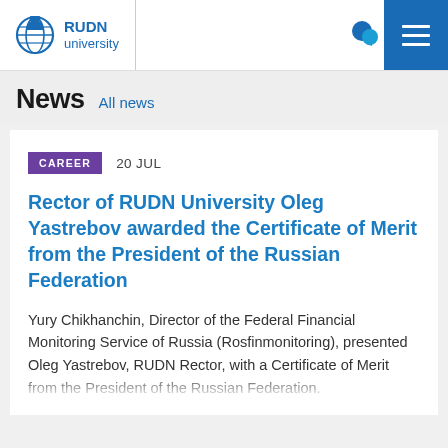RUDN university
News  All news
CAREER  20 JUL
Rector of RUDN University Oleg Yastrebov awarded the Certificate of Merit from the President of the Russian Federation
Yury Chikhanchin, Director of the Federal Financial Monitoring Service of Russia (Rosfinmonitoring), presented Oleg Yastrebov, RUDN Rector, with a Certificate of Merit from the President of the Russian Federation.